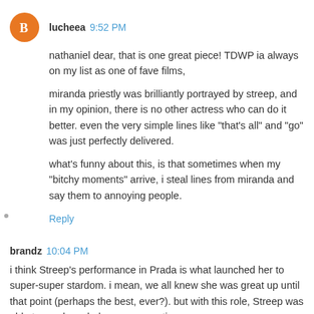lucheea  9:52 PM
nathaniel dear, that is one great piece! TDWP ia always on my list as one of fave films,
miranda priestly was brilliantly portrayed by streep, and in my opinion, there is no other actress who can do it better. even the very simple lines like "that's all" and "go" was just perfectly delivered.
what's funny about this, is that sometimes when my "bitchy moments" arrive, i steal lines from miranda and say them to annoying people.
Reply
brandz  10:04 PM
i think Streep's performance in Prada is what launched her to super-super stardom. i mean, we all knew she was great up until that point (perhaps the best, ever?). but with this role, Streep was able to reach a whole new generation